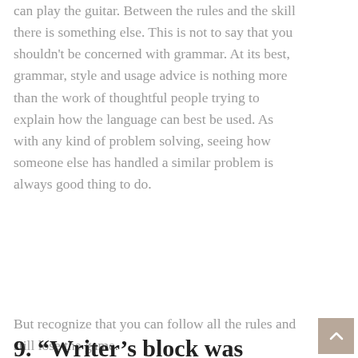can play the guitar. Between the rules and the skill there is something else. This is not to say that you shouldn't be concerned with grammar. At its best, grammar, style and usage advice is nothing more than the work of thoughtful people trying to explain how the language can best be used. As with any kind of problem solving, seeing how someone else has handled a similar problem is always good thing to do.
But recognize that you can follow all the rules and still lose the game.
9. “Writer’s block was